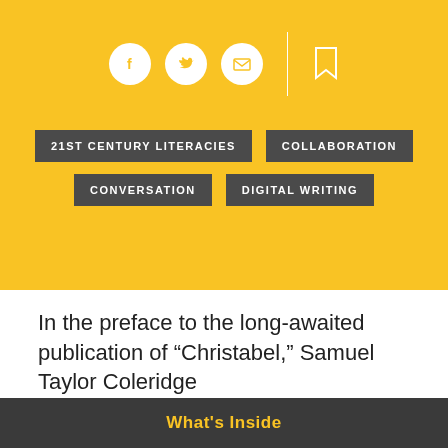[Figure (infographic): Social sharing icons row: Facebook (f), Twitter (bird), Email (envelope), vertical divider line, Bookmark icon — all in white on yellow background]
21ST CENTURY LITERACIES
COLLABORATION
CONVERSATION
DIGITAL WRITING
In the preface to the long-awaited publication of “Christabel,” Samuel Taylor Coleridge
What's Inside